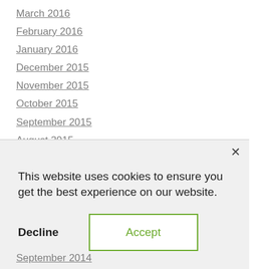March 2016
February 2016
January 2016
December 2015
November 2015
October 2015
September 2015
August 2015
July 2015
June 2015
This website uses cookies to ensure you get the best experience on our website.
Decline
Accept
September 2014